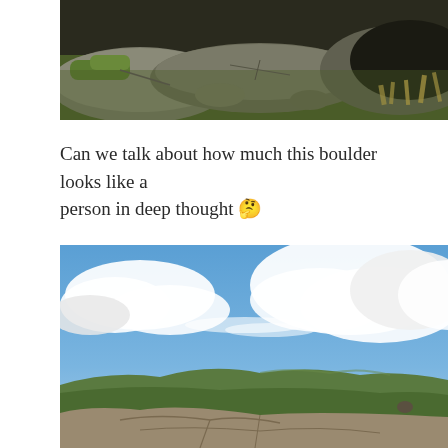[Figure (photo): Close-up photograph of large mossy boulders and rocks on a hillside with green grass and dark shadows]
Can we talk about how much this boulder looks like a person in deep thought 🤔
[Figure (photo): Wide landscape photograph of a moorland hilltop with flat rocks in the foreground, green rolling hills in the distance, and a dramatic blue sky with white clouds]